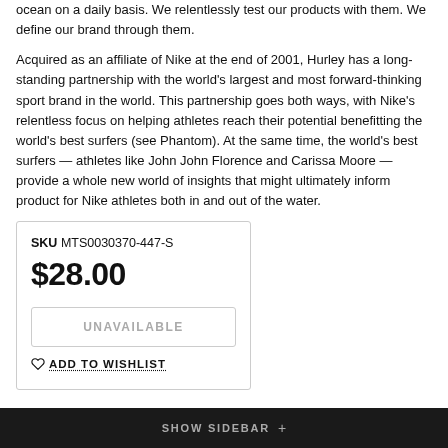ocean on a daily basis. We relentlessly test our products with them. We define our brand through them.
Acquired as an affiliate of Nike at the end of 2001, Hurley has a long-standing partnership with the world's largest and most forward-thinking sport brand in the world. This partnership goes both ways, with Nike's relentless focus on helping athletes reach their potential benefitting the world's best surfers (see Phantom). At the same time, the world's best surfers — athletes like John John Florence and Carissa Moore — provide a whole new world of insights that might ultimately inform product for Nike athletes both in and out of the water.
| SKU MTS0030370-447-S |
| $28.00 |
| UNAVAILABLE |
| ADD TO WISHLIST |
SHOW SIDEBAR +